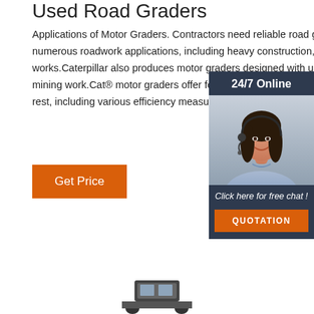Used Road Graders
Applications of Motor Graders. Contractors need reliable road graders for numerous roadwork applications, including heavy construction, hauling and public works.Caterpillar also produces motor graders designed with unique features for mining work.Cat® motor graders offer features that put them a step above the rest, including various efficiency measures to reduce costs, user ...
[Figure (photo): Orange 'Get Price' button]
[Figure (infographic): 24/7 online chat widget with photo of woman wearing headset, 'Click here for free chat!' text, and orange QUOTATION button]
[Figure (photo): Partial view of a road grader machine at the bottom of the page]